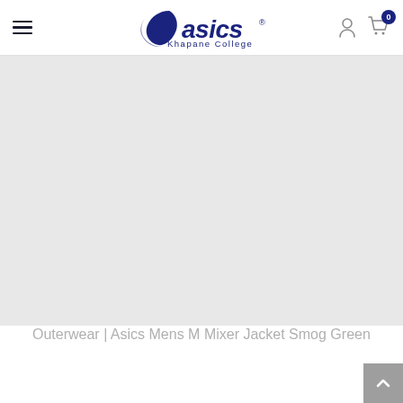ASICS Khapane College — navigation header with hamburger menu, logo, user icon, and cart (0)
[Figure (photo): Light grey product image placeholder area for Asics Mens M Mixer Jacket Smog Green]
Outerwear | Asics Mens M Mixer Jacket Smog Green